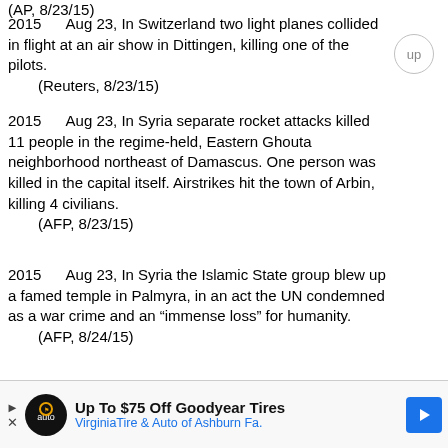(AP, 8/23/15)
2015      Aug 23, In Switzerland two light planes collided in flight at an air show in Dittingen, killing one of the pilots.
    (Reuters, 8/23/15)
2015      Aug 23, In Syria separate rocket attacks killed 11 people in the regime-held, Eastern Ghouta neighborhood northeast of Damascus. One person was killed in the capital itself. Airstrikes hit the town of Arbin, killing 4 civilians.
    (AFP, 8/23/15)
2015      Aug 23, In Syria the Islamic State group blew up a famed temple in Palmyra, in an act the UN condemned as a war crime and an "immense loss" for humanity.
    (AFP, 8/24/15)
2015      Aug 23, In Turkey Kurdish militants armed with assault rifles attacked a hydroelectric power station near the southeastern city of Diyarbakir, killing a soldier and wounding three others.
    (Reuters, 8/23/15)
[Figure (other): Advertisement banner for Virginia Tire & Auto of Ashburn Fa. showing Up To $75 Off Goodyear Tires offer with logo and blue arrow icon.]